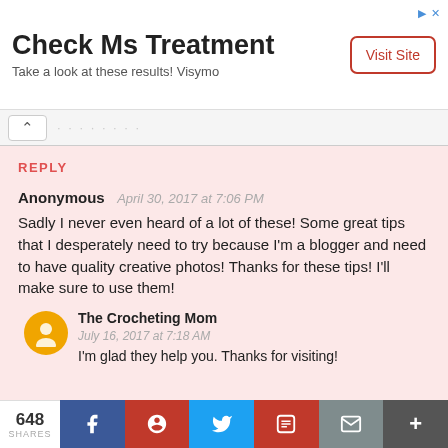[Figure (screenshot): Advertisement banner: 'Check Ms Treatment - Take a look at these results! Visymo' with a Visit Site button]
REPLY
Anonymous   April 30, 2017 at 7:06 PM
Sadly I never even heard of a lot of these! Some great tips that I desperately need to try because I'm a blogger and need to have quality creative photos! Thanks for these tips! I'll make sure to use them!
The Crocheting Mom   July 16, 2017 at 7:18 AM
I'm glad they help you. Thanks for visiting!
648 SHARES  [Facebook] [Pinterest] [Twitter] [Mix] [Email] [+]